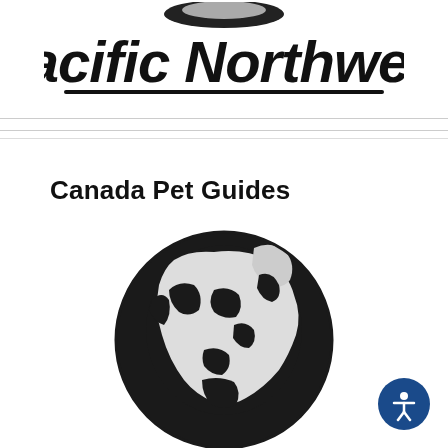[Figure (logo): Pacific Northwest logo with globe graphic and bold italic text 'Pacific Northwest']
Canada Pet Guides
[Figure (illustration): Black and white globe illustration showing North America]